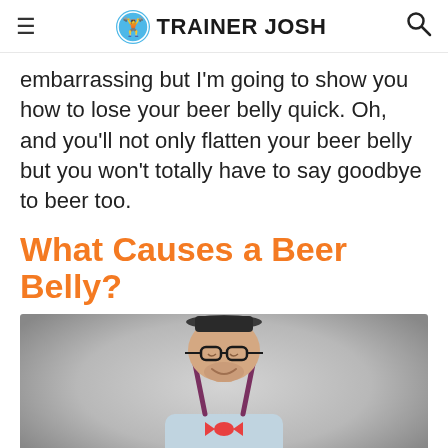≡  🏋 TRAINER JOSH  🔍
embarrassing but I'm going to show you how to lose your beer belly quick. Oh, and you'll not only flatten your beer belly but you won't totally have to say goodbye to beer too.
What Causes a Beer Belly?
[Figure (photo): A chubby man wearing glasses, a red bow tie, suspenders, and a light blue shirt, looking down at a glass of beer, photographed against a grey studio background.]